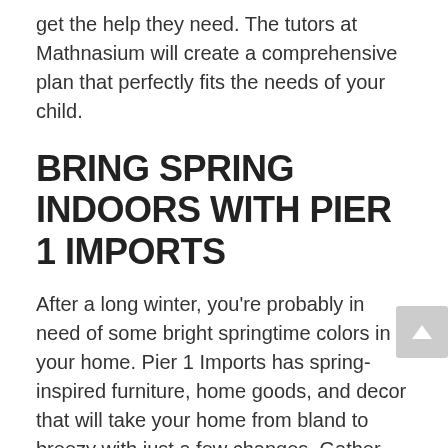get the help they need. The tutors at Mathnasium will create a comprehensive plan that perfectly fits the needs of your child.
BRING SPRING INDOORS WITH PIER 1 IMPORTS
After a long winter, you're probably in need of some bright springtime colors in your home. Pier 1 Imports has spring-inspired furniture, home goods, and decor that will take your home from bland to breezy with just a few changes. Gather the family for a day of shopping in Southlake and let everyone pick an item at Pier 1 Imports and have a redecorating party when you get home for extra fun.
VISIT LENSCRAFTERS FOR